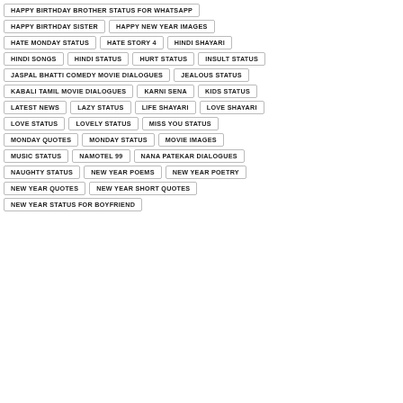HAPPY BIRTHDAY BROTHER STATUS FOR WHATSAPP
HAPPY BIRTHDAY SISTER
HAPPY NEW YEAR IMAGES
HATE MONDAY STATUS
HATE STORY 4
HINDI SHAYARI
HINDI SONGS
HINDI STATUS
HURT STATUS
INSULT STATUS
JASPAL BHATTI COMEDY MOVIE DIALOGUES
JEALOUS STATUS
KABALI TAMIL MOVIE DIALOGUES
KARNI SENA
KIDS STATUS
LATEST NEWS
LAZY STATUS
LIFE SHAYARI
LOVE SHAYARI
LOVE STATUS
LOVELY STATUS
MISS YOU STATUS
MONDAY QUOTES
MONDAY STATUS
MOVIE IMAGES
MUSIC STATUS
NAMOTEL 99
NANA PATEKAR DIALOGUES
NAUGHTY STATUS
NEW YEAR POEMS
NEW YEAR POETRY
NEW YEAR QUOTES
NEW YEAR SHORT QUOTES
NEW YEAR STATUS FOR BOYFRIEND